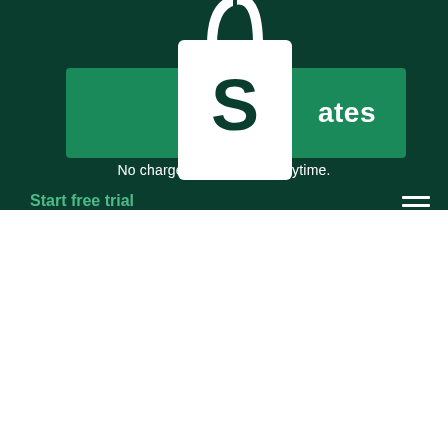[Figure (screenshot): Shopify website header banner with dark green background (#0a3d2e), a teal/green CTA button bar showing partial text '...ates', a white Shopify shopping bag logo overlaid on top, text 'No charge. Unsubscribe anytime.' in white, a 'Start free trial' link in green, and a hamburger menu icon.]
You may also be interested in:
Cash Flow Statement
Return On Assets